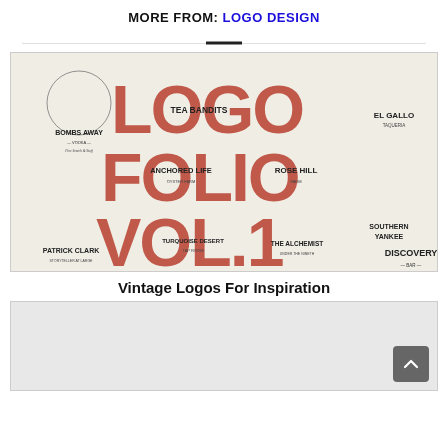MORE FROM: LOGO DESIGN
[Figure (illustration): Vintage Logos Folio Vol.1 collection image showing multiple vintage-style brand logos on a cream background including Bombs Away Vodka, Tea Bandits, El Gallo Taqueria, Anchored Life Oyster Farm, Rose Hill Farm, Bel Fermento, Patrick Clark, Turquoise Desert Tap Room, The Alchemist, Southern Yankee, Discovery Bar logos arranged in a grid with large red LOGO FOLIO VOL.1 text overlay]
Vintage Logos For Inspiration
[Figure (illustration): Partial view of another logo design collection image, mostly gray/light colored]